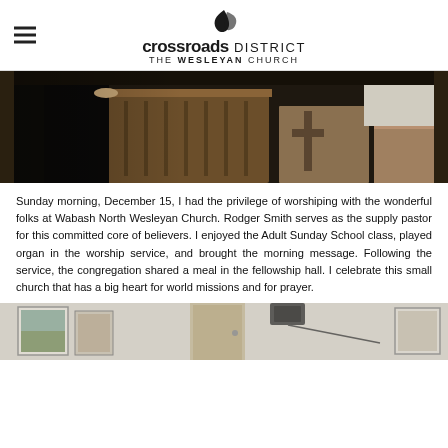crossroads DISTRICT THE wesleyan CHURCH
[Figure (photo): Interior of a church showing a wooden pulpit/lectern at the front, with pews and a cross visible in the background. A person in dark clothing stands at the pulpit.]
Sunday morning, December 15, I had the privilege of worshiping with the wonderful folks at Wabash North Wesleyan Church. Rodger Smith serves as the supply pastor for this committed core of believers. I enjoyed the Adult Sunday School class, played organ in the worship service, and brought the morning message. Following the service, the congregation shared a meal in the fellowship hall. I celebrate this small church that has a big heart for world missions and for prayer.
[Figure (photo): Interior of a church fellowship hall or room with pictures hanging on the wall, a speaker mounted on the ceiling, and a door visible.]